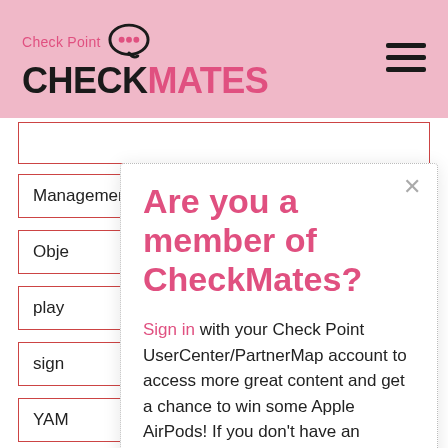Check Point CHECKMATES
Management  1
Obje...
play...
sign...
YAM...
Tags
Are you a member of CheckMates? Sign in with your Check Point UserCenter/PartnerMap account to access more great content and get a chance to win some Apple AirPods! If you don't have an account, create one now for free!
ansible  automation  mssp  telco
ansible playbooks  api  checkpoint automation  cpansible